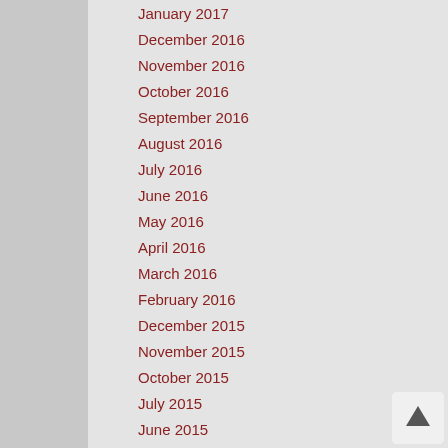January 2017
December 2016
November 2016
October 2016
September 2016
August 2016
July 2016
June 2016
May 2016
April 2016
March 2016
February 2016
December 2015
November 2015
October 2015
July 2015
June 2015
February 2015
January 2015
October 2014
September 2014
July 2014
May 2014
March 2014
February 2014